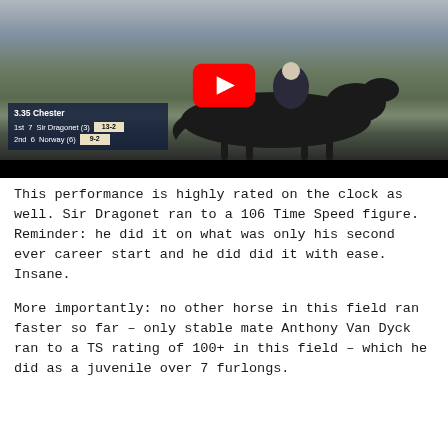[Figure (photo): A horse race video thumbnail showing a jockey on a dark horse at Chester racecourse, with a YouTube play button overlay in the center. A race results overlay in the bottom-left shows '3.35 Chester', '1st 7 Sir Dragonet (3) 13-2', '2nd 6 Norway (6) 9-2'.]
This performance is highly rated on the clock as well. Sir Dragonet ran to a 106 Time Speed figure. Reminder: he did it on what was only his second ever career start and he did did it with ease. Insane.
More importantly: no other horse in this field ran faster so far – only stable mate Anthony Van Dyck ran to a TS rating of 100+ in this field – which he did as a juvenile over 7 furlongs.